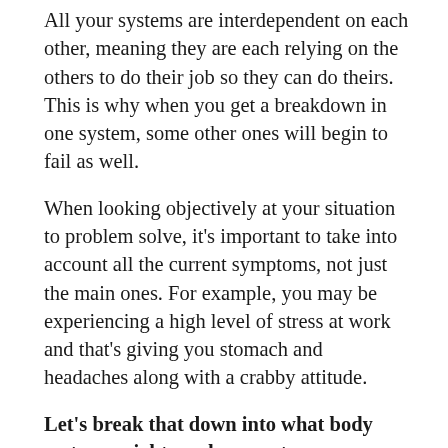All your systems are interdependent on each other, meaning they are each relying on the others to do their job so they can do theirs. This is why when you get a breakdown in one system, some other ones will begin to fail as well.
When looking objectively at your situation to problem solve, it's important to take into account all the current symptoms, not just the main ones. For example, you may be experiencing a high level of stress at work and that's giving you stomach and headaches along with a crabby attitude.
Let's break that down into what body systems might need support.
Prolonged stress activates your Flight or Fight